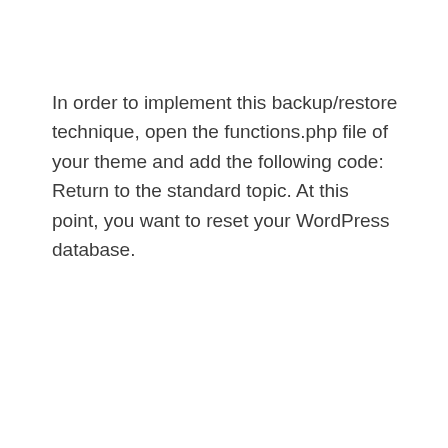In order to implement this backup/restore technique, open the functions.php file of your theme and add the following code: Return to the standard topic. At this point, you want to reset your WordPress database.